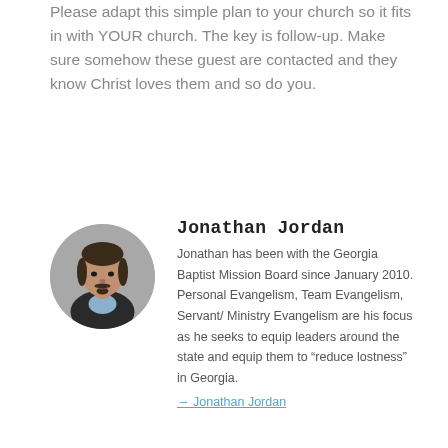Please adapt this simple plan to your church so it fits in with YOUR church. The key is follow-up. Make sure somehow these guest are contacted and they know Christ loves them and so do you.
[Figure (photo): Circular headshot portrait of Jonathan Jordan, a man with dark hair and a goatee wearing a dark jacket and light blue shirt, against a gray background.]
Jonathan Jordan
Jonathan has been with the Georgia Baptist Mission Board since January 2010. Personal Evangelism, Team Evangelism, Servant/ Ministry Evangelism are his focus as he seeks to equip leaders around the state and equip them to “reduce lostness” in Georgia.
→ Jonathan Jordan